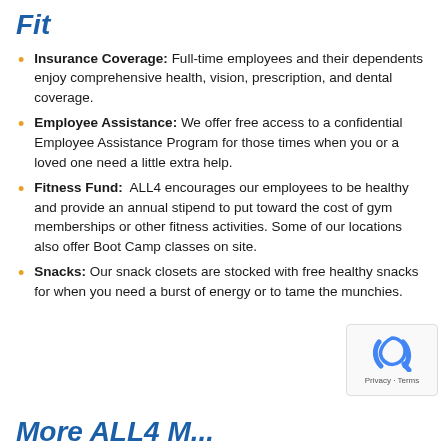Fit
Insurance Coverage: Full-time employees and their dependents enjoy comprehensive health, vision, prescription, and dental coverage.
Employee Assistance: We offer free access to a confidential Employee Assistance Program for those times when you or a loved one need a little extra help.
Fitness Fund: ALL4 encourages our employees to be healthy and provide an annual stipend to put toward the cost of gym memberships or other fitness activities. Some of our locations also offer Boot Camp classes on site.
Snacks: Our snack closets are stocked with free healthy snacks for when you need a burst of energy or to tame the munchies.
More ALL4 M...